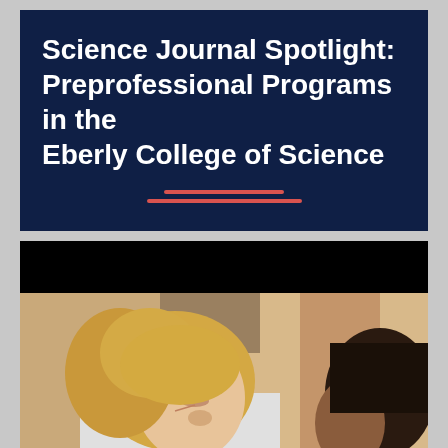Science Journal Spotlight: Preprofessional Programs in the Eberly College of Science
[Figure (photo): A blonde woman in a white lab coat leaning forward, appearing to examine or consult with a dark-haired person facing her, in a medical or laboratory setting.]